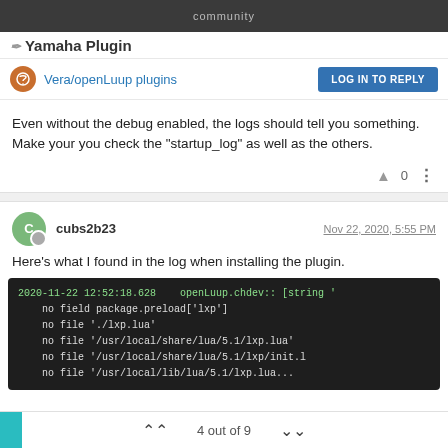community
Yamaha Plugin
Vera/openLuup plugins
LOG IN TO REPLY
Even without the debug enabled, the logs should tell you something. Make your you check the "startup_log" as well as the others.
0
cubs2b23  Nov 22, 2020, 5:55 PM
Here's what I found in the log when installing the plugin.
[Figure (screenshot): Terminal/log output showing Lua error: 2020-11-22 12:52:18.628  openLuup.chdev:: [string ... no field package.preload['lxp'] no file './lxp.lua' no file '/usr/local/share/lua/5.1/lxp.lua' no file '/usr/local/share/lua/5.1/lxp/init.l...]
4 out of 9